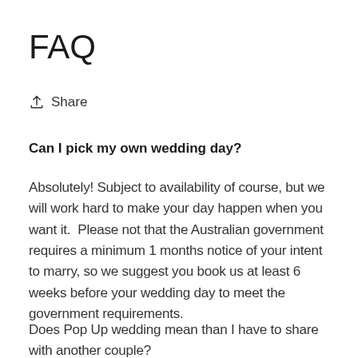FAQ
Share
Can I pick my own wedding day?
Absolutely! Subject to availability of course, but we will work hard to make your day happen when you want it.  Please not that the Australian government requires a minimum 1 months notice of your intent to marry, so we suggest you book us at least 6 weeks before your wedding day to meet the government requirements.
Does Pop Up wedding mean than I have to share with another couple?